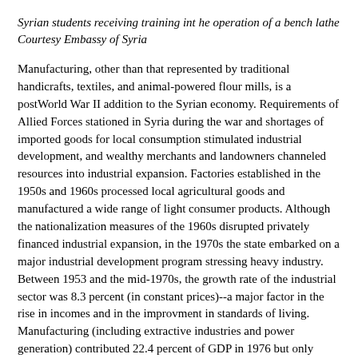Syrian students receiving training int he operation of a bench lathe Courtesy Embassy of Syria
Manufacturing, other than that represented by traditional handicrafts, textiles, and animal-powered flour mills, is a postWorld War II addition to the Syrian economy. Requirements of Allied Forces stationed in Syria during the war and shortages of imported goods for local consumption stimulated industrial development, and wealthy merchants and landowners channeled resources into industrial expansion. Factories established in the 1950s and 1960s processed local agricultural goods and manufactured a wide range of light consumer products. Although the nationalization measures of the 1960s disrupted privately financed industrial expansion, in the 1970s the state embarked on a major industrial development program stressing heavy industry. Between 1953 and the mid-1970s, the growth rate of the industrial sector was 8.3 percent (in constant prices)--a major factor in the rise in incomes and in the improvment in standards of living. Manufacturing (including extractive industries and power generation) contributed 22.4 percent of GDP in 1976 but only about 13.4 percent in 1984 as the state committed scarce resources to completing existing projects rather than to initiating new ones. The public sector dominated the chemical, cement and other construction materials, engineering, sugar, food, and various